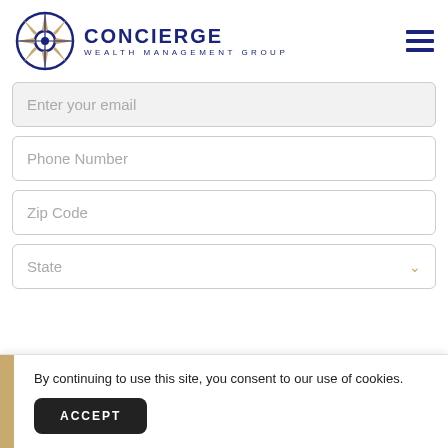[Figure (logo): Concierge Wealth Management Group logo with compass star icon in gold and navy blue]
Enter your email
Phone Number
Zip Code
State
By continuing to use this site, you consent to our use of cookies.
ACCEPT